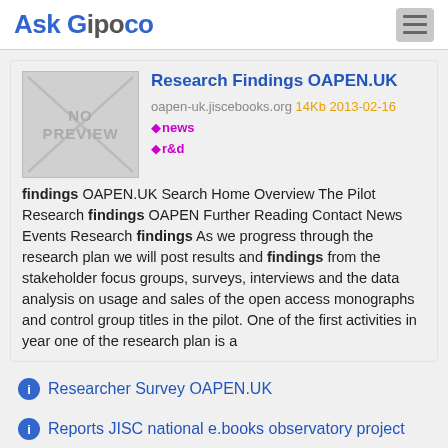Ask Gipoco
Research Findings OAPEN.UK
oapen-uk.jiscebooks.org 14Kb 2013-02-16 news r&d
findings OAPEN.UK Search Home Overview The Pilot Research findings OAPEN Further Reading Contact News Events Research findings As we progress through the research plan we will post results and findings from the stakeholder focus groups, surveys, interviews and the data analysis on usage and sales of the open access monographs and control group titles in the pilot. One of the first activities in year one of the research plan is a
Researcher Survey OAPEN.UK
Reports JISC national e.books observatory project